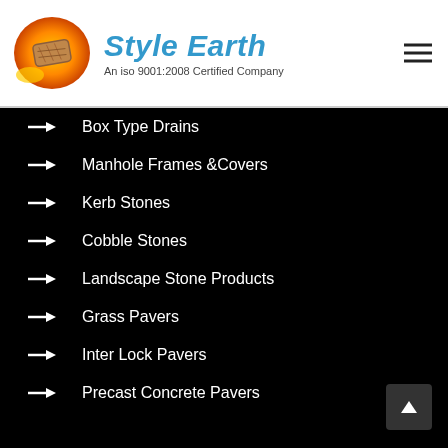[Figure (logo): Style Earth company logo: orange oval with paving stone graphic, company name 'Style Earth' in blue italic, tagline 'An iso 9001:2008 Certified Company']
Box Type Drains
Manhole Frames &Covers
Kerb Stones
Cobble Stones
Landscape Stone Products
Grass Pavers
Inter Lock Pavers
Precast Concrete Pavers